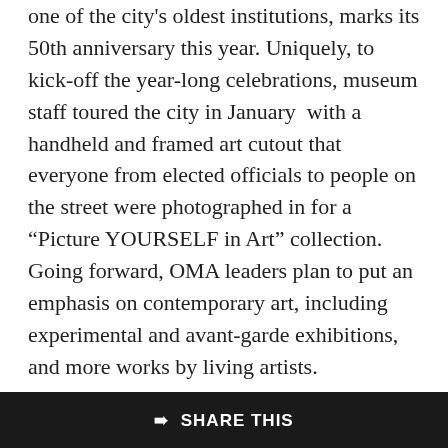one of the city's oldest institutions, marks its 50th anniversary this year. Uniquely, to kick-off the year-long celebrations, museum staff toured the city in January  with a handheld and framed art cutout that everyone from elected officials to people on the street were photographed in for a “Picture YOURSELF in Art” collection. Going forward, OMA leaders plan to put an emphasis on contemporary art, including experimental and avant-garde exhibitions, and more works by living artists.
DaVita RX
DaVita RX is a done deal, finally. For the second time, Orange County has approved incentives to help the California-based specialty pharmacy expand in Orlando. The first approval came in 2012, but company plans changed. Now DaVita seeks to build a new headquarters in the county
SHARE THIS